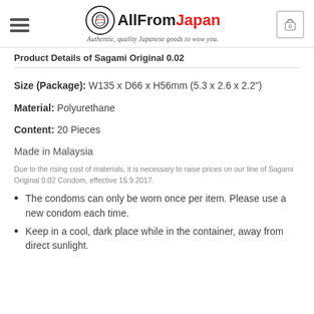AllFromJapan — Authentic, quality Japanese goods to wow you.
Product Details of Sagami Original 0.02
Size (Package): W135 x D66 x H56mm (5.3 x 2.6 x 2.2")
Material: Polyurethane
Content: 20 Pieces
Made in Malaysia
Due to the rising cost of materials, it is necessary to raise prices on our line of Sagami Original 0.02 Condom, effective 15.9.2017.
The condoms can only be worn once per item. Please use a new condom each time.
Keep in a cool, dark place while in the container, away from direct sunlight.